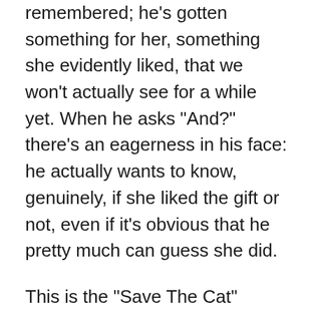remembered; he's gotten something for her, something she evidently liked, that we won't actually see for a while yet. When he asks "And?" there's an eagerness in his face: he actually wants to know, genuinely, if she liked the gift or not, even if it's obvious that he pretty much can guess she did.
This is the “Save The Cat” moment, a phrase popularly attached to screenwriter Blake Snyder and his series of books on the art of writing movies. He advocates that every movie with a clear protagonist needs an early scene where the “hero” does something undeniably good. It should be something relatively small in the larger plot of the film, but which shows the hero being nice, someone whom we can rally behind and sympathise with. Like, for example, saving a cat which is stuck in a tree. Or, in this case, buying his beleaguered assistant something nice for